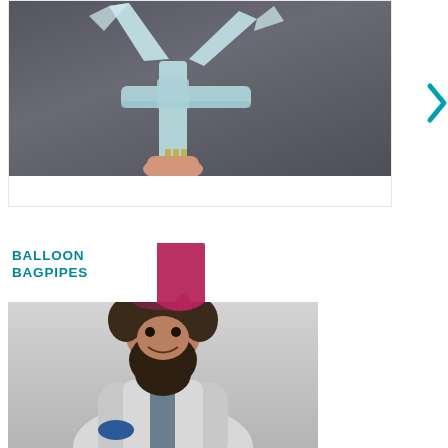[Figure (photo): Close-up photo of a person's hand holding light blue folded paper or ribbon craft on a dark gray background]
BALLOON BAGPIPES
[Figure (photo): Photo of a bearded man with curly hair wearing a gray jacket, smiling at camera, appears to be holding something blue, against a gray wall background]